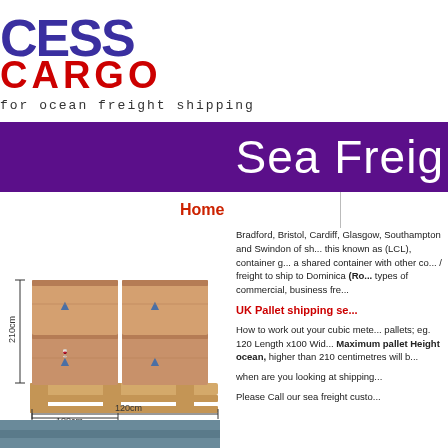CESS CARGO - for ocean freight shipping
Sea Freig[ht]
Home
[Figure (illustration): Stacked cardboard boxes on a wooden pallet with dimension annotations: 210cm height, 100cm width, 120cm length]
Bradford, Bristol, Cardiff, Glasgow, Southampton and Swindon of shipments, this known as (LCL), container groupage, a shared container with other consignments / freight to ship to Dominica (Ro... types of commercial, business fre...
UK Pallet shipping se[rvices]
How to work out your cubic metre for pallets; eg. 120 Length x100 Wid... Maximum pallet Height ocean, higher than 210 centimetres will b...
when are you looking at shipping...
Please Call our sea freight custo...